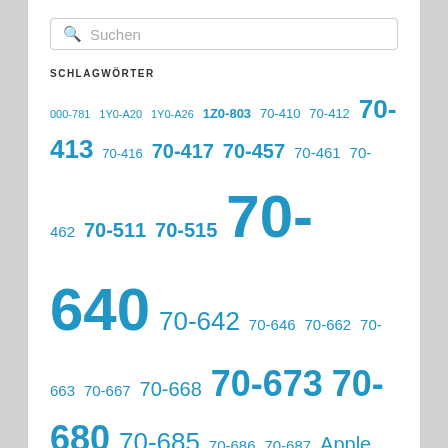[Figure (other): Search box with placeholder text 'Suchen']
SCHLAGWÖRTER
000-781 1Y0-A20 1Y0-A26 1Z0-803 70-410 70-412 70-413 70-416 70-417 70-457 70-461 70-462 70-511 70-515 70-640 70-642 70-646 70-662 70-663 70-667 70-668 70-673 70-680 70-685 70-686 70-687 Apple C_TADM51_70 Deutsch Downloaden echte Fragen Fragenkatalog ibm in Deutsch MB7-701 MB7-702 Microsoft Oracle Prüfungsfragen